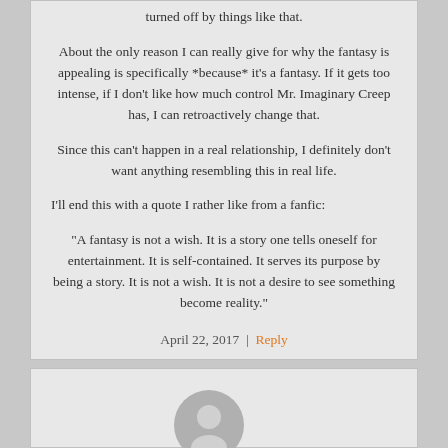turned off by things like that.
About the only reason I can really give for why the fantasy is appealing is specifically *because* it's a fantasy. If it gets too intense, if I don't like how much control Mr. Imaginary Creep has, I can retroactively change that.
Since this can't happen in a real relationship, I definitely don't want anything resembling this in real life.
I'll end this with a quote I rather like from a fanfic:
“A fantasy is not a wish. It is a story one tells oneself for entertainment. It is self-contained. It serves its purpose by being a story. It is not a wish. It is not a desire to see something become reality.”
April 22, 2017 | Reply
[Figure (illustration): User avatar icon — grey silhouette of a person on a slightly darker grey circle background]